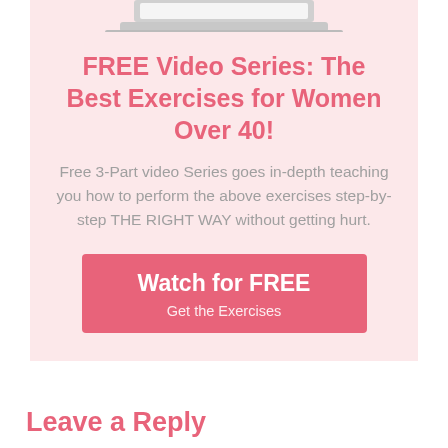[Figure (illustration): Laptop computer image partially visible at the top of the pink card]
FREE Video Series: The Best Exercises for Women Over 40!
Free 3-Part video Series goes in-depth teaching you how to perform the above exercises step-by-step THE RIGHT WAY without getting hurt.
Watch for FREE
Get the Exercises
Leave a Reply